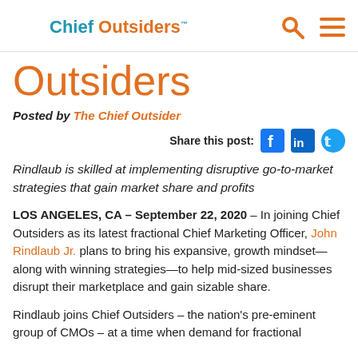Chief Outsiders
Outsiders
Posted by The Chief Outsider
Share this post:
Rindlaub is skilled at implementing disruptive go-to-market strategies that gain market share and profits
LOS ANGELES, CA – September 22, 2020 – In joining Chief Outsiders as its latest fractional Chief Marketing Officer, John Rindlaub Jr. plans to bring his expansive, growth mindset—along with winning strategies—to help mid-sized businesses disrupt their marketplace and gain sizable share.
Rindlaub joins Chief Outsiders – the nation's pre-eminent group of CMOs – at a time when demand for fractional